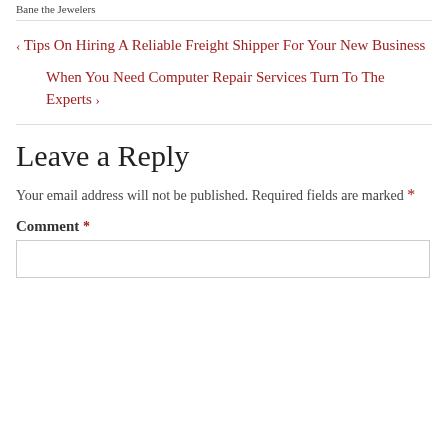Bane the Jewelers
‹ Tips On Hiring A Reliable Freight Shipper For Your New Business
When You Need Computer Repair Services Turn To The Experts ›
Leave a Reply
Your email address will not be published. Required fields are marked *
Comment *